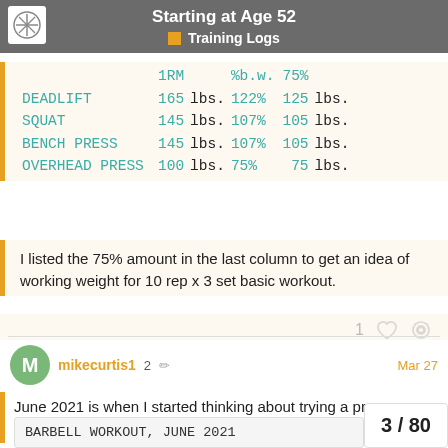Starting at Age 52 — Training Logs
|  | 1RM |  | %b.w. | 75% |  |
| --- | --- | --- | --- | --- | --- |
| DEADLIFT | 165 | lbs. | 122% | 125 | lbs. |
| SQUAT | 145 | lbs. | 107% | 105 | lbs. |
| BENCH PRESS | 145 | lbs. | 107% | 105 | lbs. |
| OVERHEAD PRESS | 100 | lbs. | 75% | 75 | lbs. |
I listed the 75% amount in the last column to get an idea of working weight for 10 rep x 3 set basic workout.
mikecurtis1  2  Mar 27
June 2021 is when I started thinking about trying a proper weight lifting program.
BARBELL WORKOUT, JUNE 2021
3 / 80